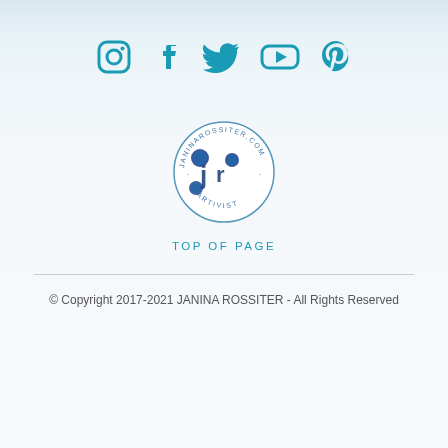[Figure (logo): Row of five social media icons in teal: Instagram, Facebook, Twitter, YouTube, Pinterest]
[Figure (logo): Circular stamp logo reading JANINAROSSITER.COM · ARTIVIST · with stylized 'jr' letters and blue circular shapes in the center]
TOP OF PAGE
© Copyright 2017-2021 JANINA ROSSITER - All Rights Reserved